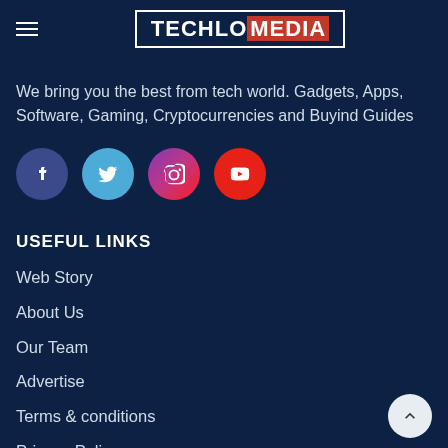TECHLO MEDIA
We bring you the best from tech world. Gadgets, Apps, Software, Gaming, Cryptocurrencies and Buyind Guides
[Figure (other): Social media icons: Facebook, Twitter, Instagram, YouTube]
USEFUL LINKS
Web Story
About Us
Our Team
Advertise
Terms & conditions
Privacy Policy
Affiliate Disclaimer